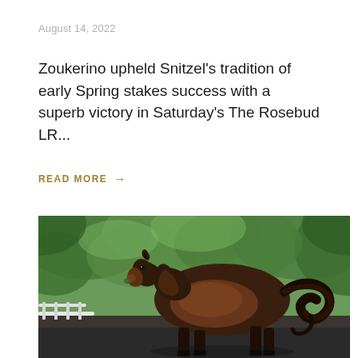August 14, 2022
Zoukerino upheld Snitzel's tradition of early Spring stakes success with a superb victory in Saturday's The Rosebud LR...
READ MORE →
[Figure (photo): A dark bay thoroughbred horse standing in profile against a lush green leafy background, with white fencing partially visible at lower left. The horse faces left with head turned slightly toward the camera.]